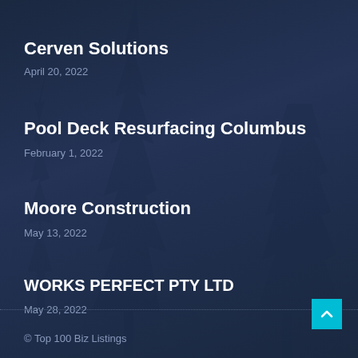Cerven Solutions
April 20, 2022
Pool Deck Resurfacing Columbus
February 1, 2022
Moore Construction
May 13, 2022
WORKS PERFECT PTY LTD
May 28, 2022
© Top 100 Biz Listings